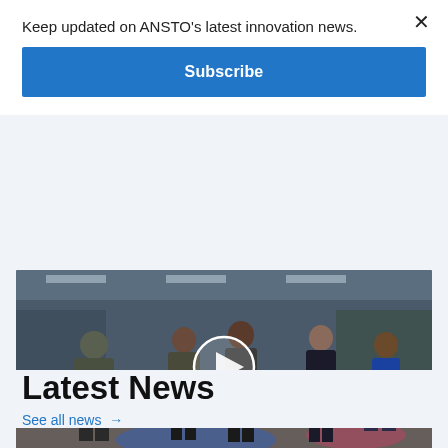Keep updated on ANSTO's latest innovation news.
Subscribe
[Figure (photo): Group of five people posed in an industrial/laboratory facility with blue and pink lighting. A play button overlay indicates this is a video thumbnail.]
Latest News
See all news →